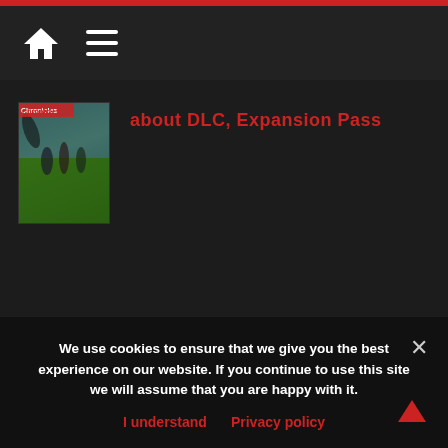Navigation header with home and menu icons
[Figure (screenshot): Xenoblade Chronicles 3 game box art thumbnail showing characters in a green field]
about DLC, Expansion Pass
We use cookies to ensure that we give you the best experience on our website. If you continue to use this site we will assume that you are happy with it.
I understand   Privacy policy